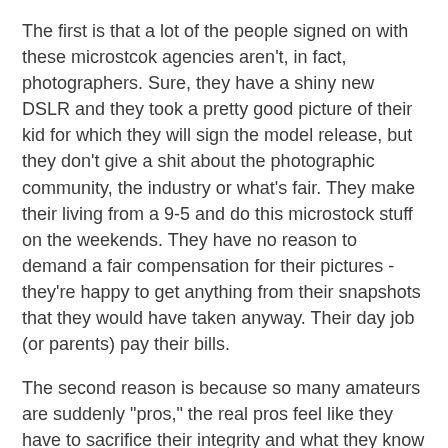The first is that a lot of the people signed on with these microstcok agencies aren't, in fact, photographers. Sure, they have a shiny new DSLR and they took a pretty good picture of their kid for which they will sign the model release, but they don't give a shit about the photographic community, the industry or what's fair. They make their living from a 9-5 and do this microstock stuff on the weekends. They have no reason to demand a fair compensation for their pictures - they're happy to get anything from their snapshots that they would have taken anyway. Their day job (or parents) pay their bills.
The second reason is because so many amateurs are suddenly "pros," the real pros feel like they have to sacrifice their integrity and what they know is fair compensation so they can compete with them.